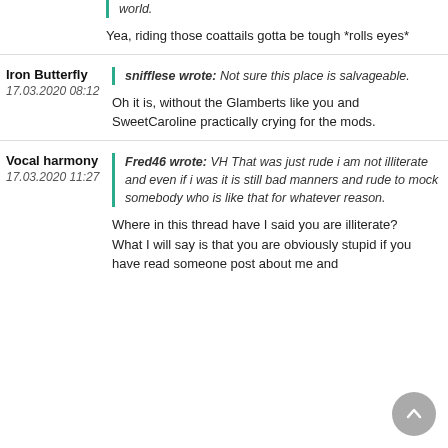world.
Yea, riding those coattails gotta be tough *rolls eyes*
Iron Butterfly
17.03.2020 08:12
snifflese wrote: Not sure this place is salvageable.
Oh it is, without the Glamberts like you and SweetCaroline practically crying for the mods.
Vocal harmony
17.03.2020 11:27
Fred46 wrote: VH That was just rude i am not illiterate and even if i was it is still bad manners and rude to mock somebody who is like that for whatever reason.
Where in this thread have I said you are illiterate?
What I will say is that you are obviously stupid if you have read someone post about me and